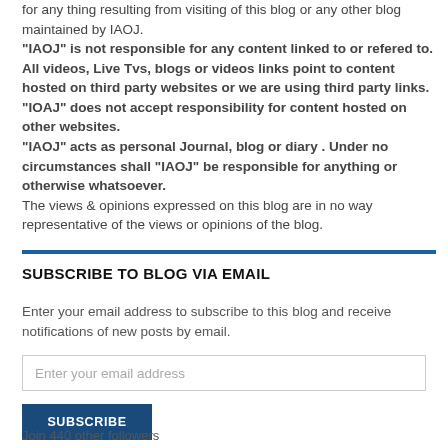for any thing resulting from visiting of this blog or any other blog maintained by IAOJ.
"IAOJ" is not responsible for any content linked to or refered to. All videos, Live Tvs, blogs or videos links point to content hosted on third party websites or we are using third party links. "IOAJ" does not accept responsibility for content hosted on other websites.
"IAOJ" acts as personal Journal, blog or diary . Under no circumstances shall "IAOJ" be responsible for anything or otherwise whatsoever.
The views & opinions expressed on this blog are in no way representative of the views or opinions of the blog.
SUBSCRIBE TO BLOG VIA EMAIL
Enter your email address to subscribe to this blog and receive notifications of new posts by email.
Enter your email address
SUBSCRIBE
Join 440 other followers